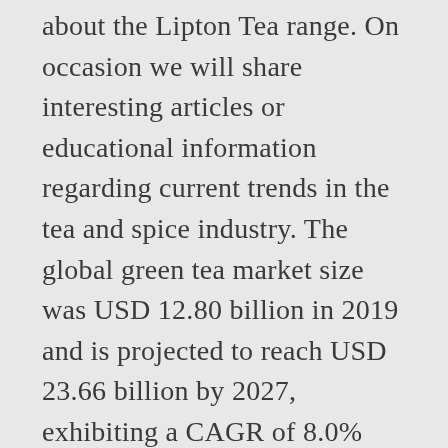about the Lipton Tea range. On occasion we will share interesting articles or educational information regarding current trends in the tea and spice industry. The global green tea market size was USD 12.80 billion in 2019 and is projected to reach USD 23.66 billion by 2027, exhibiting a CAGR of 8.0% during the forecast period. PLEASE NOTE: ALL ORDERS OF MULTIPLE 100g OF THE SAME TEA, SHIPPED IN ONE BULK BAG. Tea is the second-most consumed beverage in the world, and sales are continuing to increase. Canadians' tea consumption is expected to rise 40 per cent by 2020, according to a government agency report on food trends published by Agriculture and Agri-Food